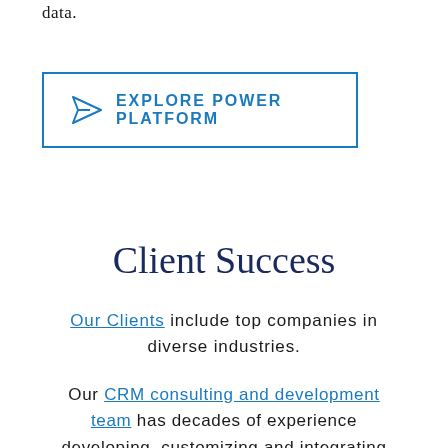data.
[Figure (other): Button with paper airplane icon and text 'EXPLORE POWER PLATFORM' with blue border]
Client Success
Our Clients include top companies in diverse industries.
Our CRM consulting and development team has decades of experience developing, customizing and integrating